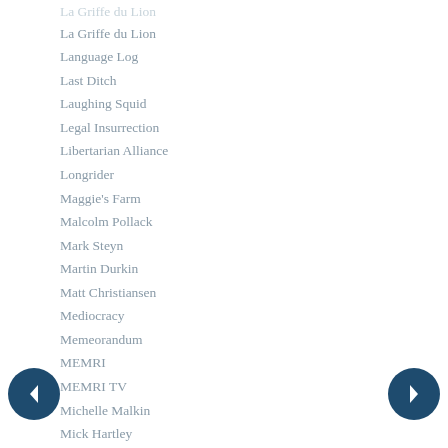La Griffe du Lion
Language Log
Last Ditch
Laughing Squid
Legal Insurrection
Libertarian Alliance
Longrider
Maggie's Farm
Malcolm Pollack
Mark Steyn
Martin Durkin
Matt Christiansen
Mediocracy
Memeorandum
MEMRI
MEMRI TV
Michelle Malkin
Mick Hartley
Minding the Campus
Monday Books
NAS
National Review
Neatorama